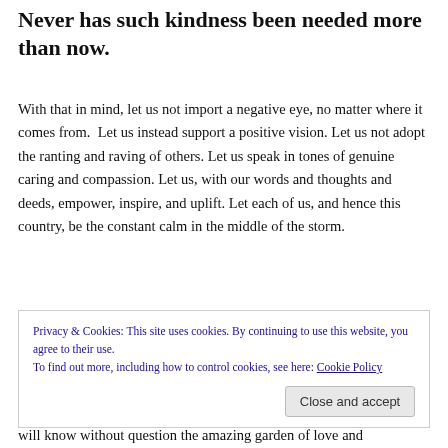Never has such kindness been needed more than now.
With that in mind, let us not import a negative eye, no matter where it comes from.  Let us instead support a positive vision. Let us not adopt the ranting and raving of others. Let us speak in tones of genuine caring and compassion. Let us, with our words and thoughts and deeds, empower, inspire, and uplift. Let each of us, and hence this country, be the constant calm in the middle of the storm.
Privacy & Cookies: This site uses cookies. By continuing to use this website, you agree to their use.
To find out more, including how to control cookies, see here: Cookie Policy
will know without question the amazing garden of love and